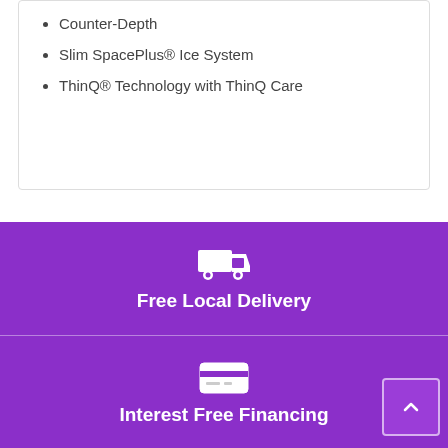Counter-Depth
Slim SpacePlus® Ice System
ThinQ® Technology with ThinQ Care
[Figure (infographic): Delivery truck icon on purple background with text Free Local Delivery]
[Figure (infographic): Credit card icon on purple background with text Interest Free Financing]